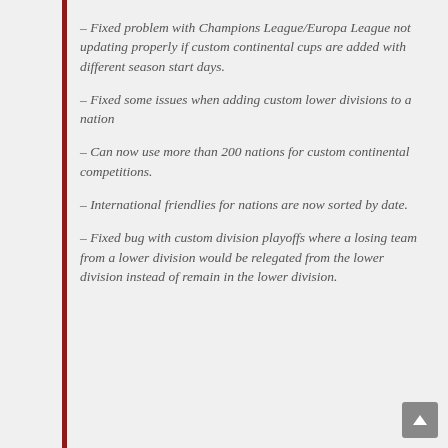– Fixed problem with Champions League/Europa League not updating properly if custom continental cups are added with different season start days.
– Fixed some issues when adding custom lower divisions to a nation
– Can now use more than 200 nations for custom continental competitions.
– International friendlies for nations are now sorted by date.
– Fixed bug with custom division playoffs where a losing team from a lower division would be relegated from the lower division instead of remain in the lower division.